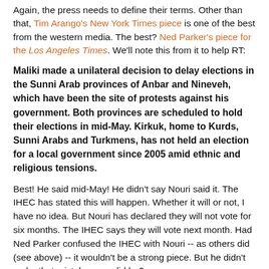Again, the press needs to define their terms. Other than that, Tim Arango's New York Times piece is one of the best from the western media. The best? Ned Parker's piece for the Los Angeles Times. We'll note this from it to help RT:
Maliki made a unilateral decision to delay elections in the Sunni Arab provinces of Anbar and Nineveh, which have been the site of protests against his government. Both provinces are scheduled to hold their elections in mid-May. Kirkuk, home to Kurds, Sunni Arabs and Turkmens, has not held an election for a local government since 2005 amid ethnic and religious tensions.
Best!  He said mid-May!  He didn't say Nouri said it.  The IHEC has stated this will happen.  Whether it will or not, I have no idea.  But Nouri has declared they will not vote for six months.  The IHEC says they will vote next month.  Had Ned Parker confused the IHEC with Nouri -- as others did (see above) -- it wouldn't be a strong piece.  But he didn't make that mistake, now did he?